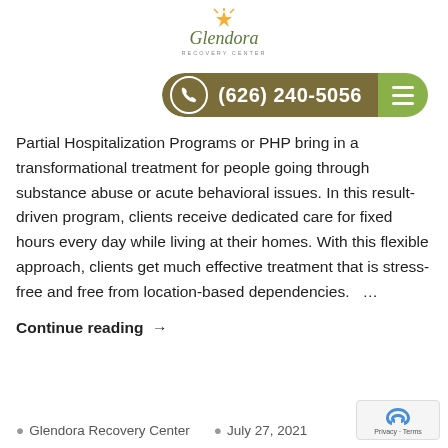[Figure (logo): Glendora Recovery Center logo with sun/star icon above cursive 'Glendora' text]
[Figure (infographic): Phone call button bar with phone icon, number (626) 240-5056, and hamburger menu icon on olive/green background]
Partial Hospitalization Programs or PHP bring in a transformational treatment for people going through substance abuse or acute behavioral issues. In this result-driven program, clients receive dedicated care for fixed hours every day while living at their homes. With this flexible approach, clients get much effective treatment that is stress-free and free from location-based dependencies.   …
Continue reading →
Glendora Recovery Center   July 27, 2021